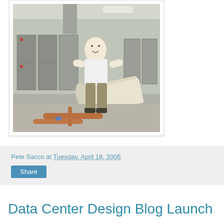[Figure (photo): A man in a white polo shirt and khaki pants standing in what appears to be a data center under construction, leaning on large rolled blueprints on a stand. Copper pipes are on the floor and metal electrical cabinets are in the background. Plastic sheeting covers the walls.]
Pete Sacco at Tuesday, April 18, 2006
Share
Data Center Design Blog Launch